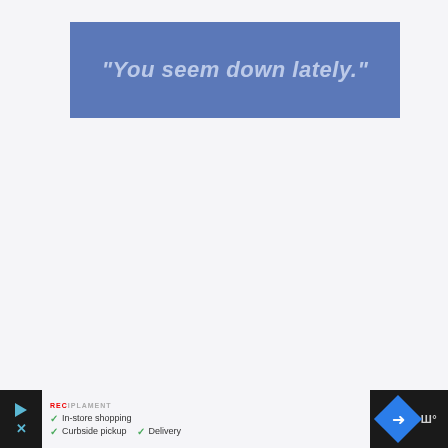“You seem down lately.”
[Figure (infographic): Advertisement banner at bottom showing in-store shopping, curbside pickup, and delivery options with a navigation icon and WW logo]
In-store shopping
Curbside pickup
Delivery